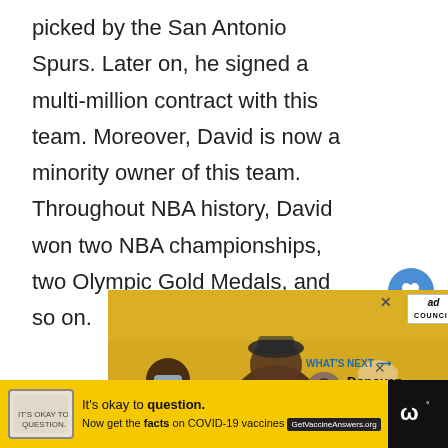picked by the San Antonio Spurs. Later on, he signed a multi-million contract with this team. Moreover, David is now a minority owner of this team. Throughout NBA history, David won two NBA championships, two Olympic Gold Medals, and so on.
[Figure (photo): Advertisement photo showing people laughing at what appears to be a sports event, with yellow background]
[Figure (photo): Bottom advertisement bar with COVID-19 vaccine text: It's okay to question. Now get the facts on COVID-19 vaccines GetVaccineAnswers.org]